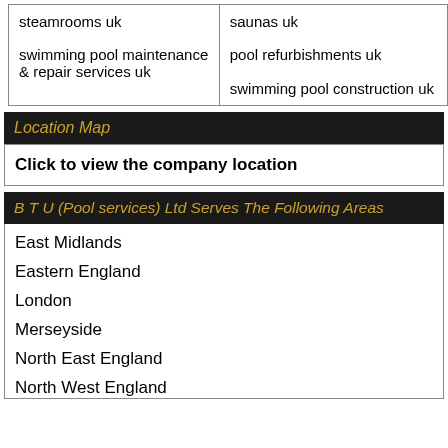| steamrooms uk | saunas uk |
| swimming pool maintenance & repair services uk | pool refurbishments uk
swimming pool construction uk |
Location Map
Click to view the company location
B T U (Pool services) Ltd Serves The Following Areas
East Midlands
Eastern England
London
Merseyside
North East England
North West England